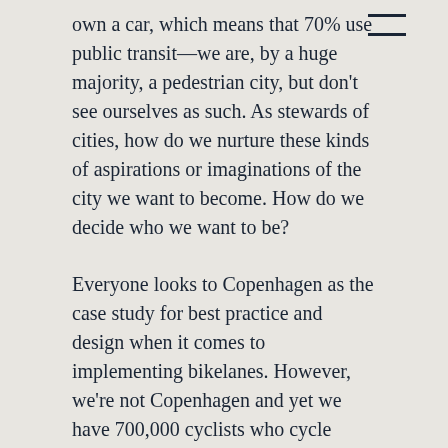own a car, which means that 70% use public transit—we are, by a huge majority, a pedestrian city, but don't see ourselves as such. As stewards of cities, how do we nurture these kinds of aspirations or imaginations of the city we want to become. How do we decide who we want to be?
Everyone looks to Copenhagen as the case study for best practice and design when it comes to implementing bikelanes. However, we're not Copenhagen and yet we have 700,000 cyclists who cycle every day in Mexico City (which is the size of Copenhagen). We are a cycling city and once your start to think of yourself as a cycling city, then so many other things become possible. The Copenhagen we know now is not the Copenhagen that existed in the 60's. The Copenhagen we know now had to go through drastic urban and cultural transformation to become that city. Any policy needs to be accompanied by